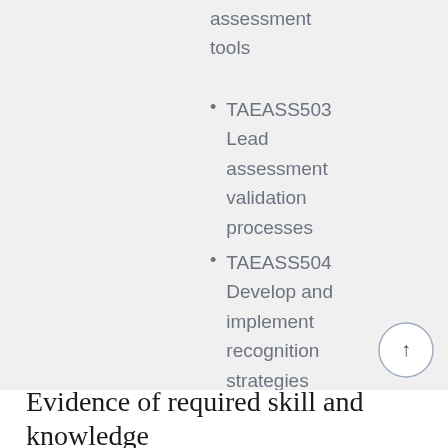assessment tools
TAEASS503 Lead assessment validation processes
TAEASS504 Develop and implement recognition strategies
Evidence of required skill and knowledge